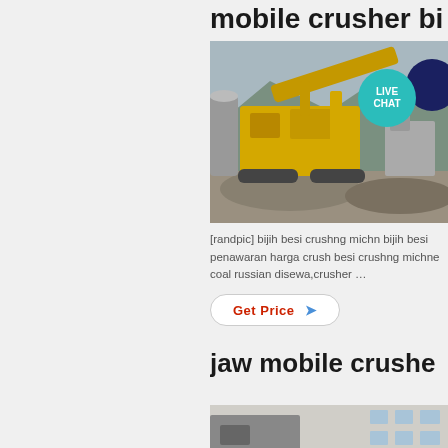mobile crusher bi
[Figure (photo): Yellow mobile crusher machine at a quarry/construction site with gravel piles, mountains in background. Live chat badge overlay in top right.]
[randpic] bijih besi crushng michn bijih besi penawaran harga crush besi crushng michne coal russian disewa,crusher …
Get Price →
jaw mobile crushe
[Figure (photo): Partial image of jaw mobile crusher machinery, light grey building in background.]